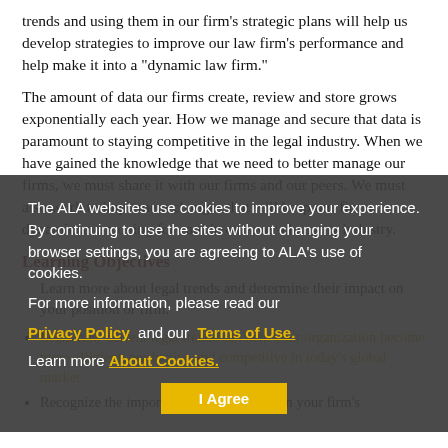trends and using them in our firm’s strategic plans will help us develop strategies to improve our law firm’s performance and help make it into a “dynamic law firm.”
The amount of data our firms create, review and store grows exponentially each year. How we manage and secure that data is paramount to staying competitive in the legal industry. When we have gained the knowledge that we need to better manage our firms, we must share it with our firms and our peers. We must also work to implement changes that will keep our firms dynamic and moving forward in our ever-changing industry.
Learning Objectives
Learn more about legal trends and determine their impact on your position or firm.
Learn how current legal trends can help your organization become more efficient, productive and competitive in today’s global market.
Recognize the importance of legal trends in your firm’s
The ALA websites use cookies to improve your experience. By continuing to use the sites without changing your browser settings, you are agreeing to ALA’s use of cookies. For more information, please read our Privacy Policy and our Terms of Use. Learn more About Cookies.
I Agree